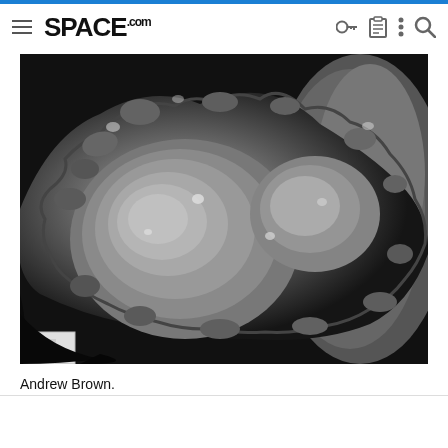SPACE.com
[Figure (photo): Black and white close-up photograph of a rocky surface, likely an asteroid or comet surface, showing a large depression or crater with rough, jagged edges and varied textures]
Andrew Brown.